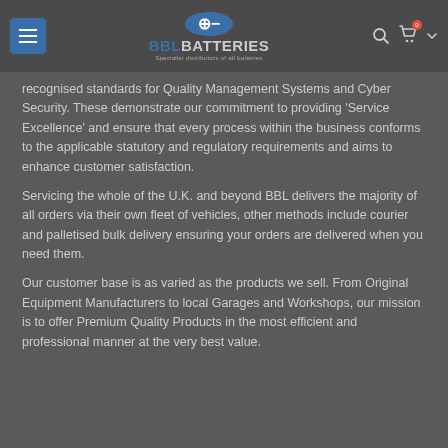BBL BATTERIES — Specialist distributors of all batteries
recognised standards for Quality Management Systems and Cyber Security. These demonstrate our commitment to providing 'Service Excellence' and ensure that every process within the business conforms to the applicable statutory and regulatory requirements and aims to enhance customer satisfaction.
Servicing the whole of the U.K. and beyond BBL delivers the majority of all orders via their own fleet of vehicles, other methods include courier and palletised bulk delivery ensuring your orders are delivered when you need them.
Our customer base is as varied as the products we sell. From Original Equipment Manufacturers to local Garages and Workshops, our mission is to offer Premium Quality Products in the most efficient and professional manner at the very best value.